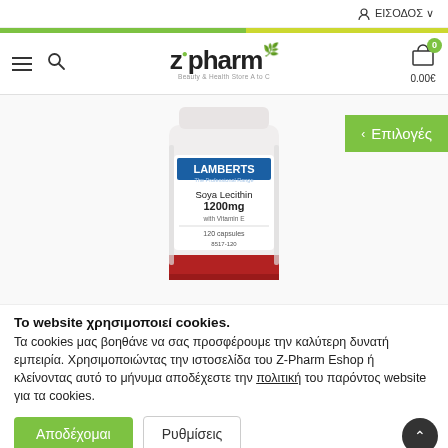ΕΙΣΟΔΟΣ
[Figure (logo): Z-Pharm logo with green dot and leaf]
[Figure (photo): Lamberts Soya Lecithin 1200mg with Vitamin E 120 capsules product bottle]
< Επιλογές
Το website χρησιμοποιεί cookies. Τα cookies μας βοηθάνε να σας προσφέρουμε την καλύτερη δυνατή εμπειρία. Χρησιμοποιώντας την ιστοσελίδα του Z-Pharm Eshop ή κλείνοντας αυτό το μήνυμα αποδέχεστε την πολιτική του παρόντος website για τα cookies.
Αποδέχομαι
Ρυθμίσεις